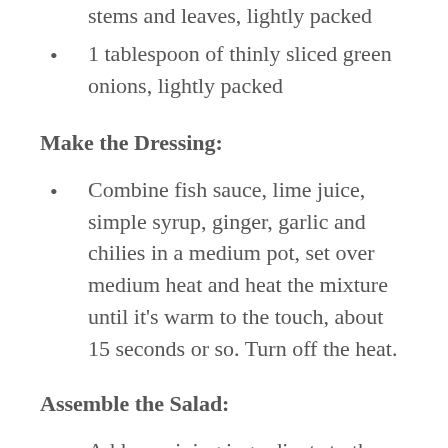stems and leaves, lightly packed
1 tablespoon of thinly sliced green onions, lightly packed
Make the Dressing:
Combine fish sauce, lime juice, simple syrup, ginger, garlic and chilies in a medium pot, set over medium heat and heat the mixture until it's warm to the touch, about 15 seconds or so. Turn off the heat.
Assemble the Salad:
Add remaining ingredients to the pot with the dressing and toss gently but well. Transfer the